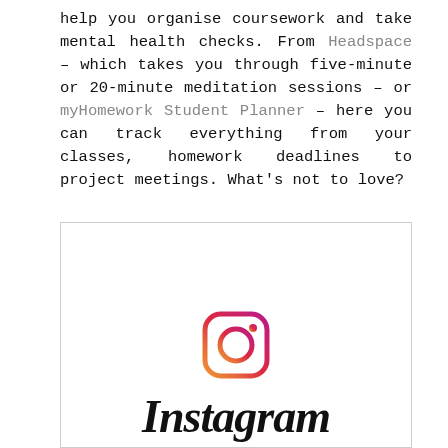help you organise coursework and take mental health checks. From Headspace – which takes you through five-minute or 20-minute meditation sessions – or myHomework Student Planner – here you can track everything from your classes, homework deadlines to project meetings. What's not to love?
[Figure (logo): Instagram logo: the Instagram camera icon with gradient (orange to purple) and the Instagram wordmark in script font below it]